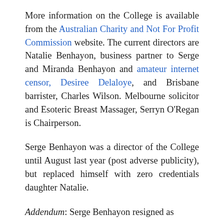More information on the College is available from the Australian Charity and Not For Profit Commission website. The current directors are Natalie Benhayon, business partner to Serge and Miranda Benhayon and amateur internet censor, Desiree Delaloye, and Brisbane barrister, Charles Wilson. Melbourne solicitor and Esoteric Breast Massager, Serryn O'Regan is Chairperson.
Serge Benhayon was a director of the College until August last year (post adverse publicity), but replaced himself with zero credentials daughter Natalie.
Addendum: Serge Benhayon resigned as